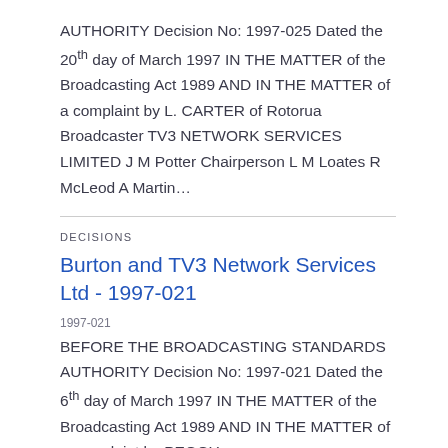AUTHORITY Decision No: 1997-025 Dated the 20th day of March 1997 IN THE MATTER of the Broadcasting Act 1989 AND IN THE MATTER of a complaint by L. CARTER of Rotorua Broadcaster TV3 NETWORK SERVICES LIMITED J M Potter Chairperson L M Loates R McLeod A Martin…
DECISIONS
Burton and TV3 Network Services Ltd - 1997-021
1997-021
BEFORE THE BROADCASTING STANDARDS AUTHORITY Decision No: 1997-021 Dated the 6th day of March 1997 IN THE MATTER of the Broadcasting Act 1989 AND IN THE MATTER of a complaint by PEGGY…